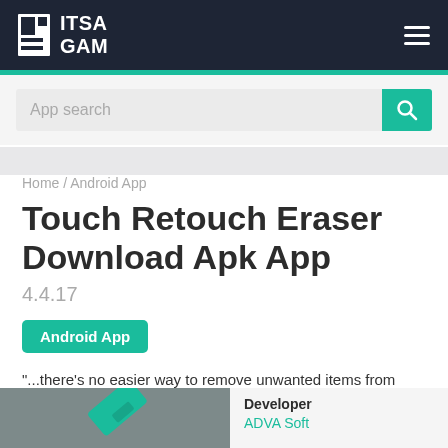ITSA GAM
App search
Home / Android App
Touch Retouch Eraser Download Apk App
4.4.17
Android App
"...there's no easier way to remove unwanted items from your images..." — The Guardian
Developer ADVA Soft